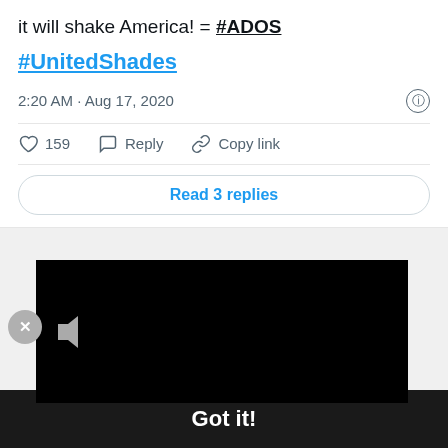it will shake America! = #ADOS
#UnitedShades
2:20 AM · Aug 17, 2020
159   Reply   Copy link
Read 3 replies
[Figure (screenshot): Black video player area with a speaker/mute icon in the upper left. A close (X) button is visible at the left edge.]
This website uses cookies to ensure you get the best experience on our website.
Learn more
Got it!